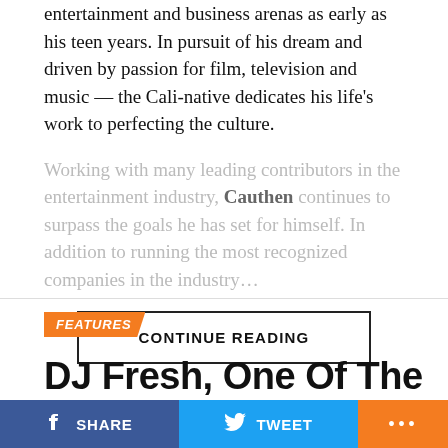entertainment and business arenas as early as his teen years. In pursuit of his dream and driven by passion for film, television and music — the Cali-native dedicates his life's work to perfecting the culture.
Working with many leading contributors in the entertainment industry, Cauthen continues to surpass the goals he has set for himself. In addition to running the most recognized…
CONTINUE READING
FEATURES
DJ Fresh, One Of The Industry's Best Kept Secrets You Need To Know
SHARE  TWEET  ...